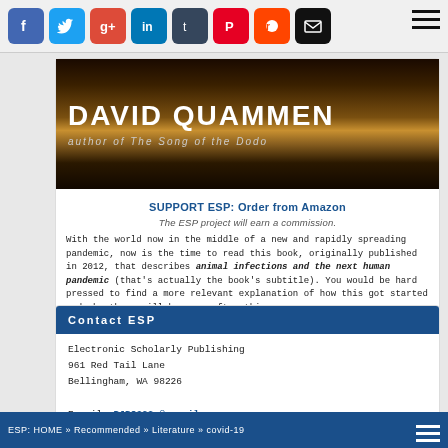Social share buttons: Facebook, Twitter, Google+, LinkedIn, Tumblr, Pinterest, Reddit, Email
[Figure (photo): Book cover image showing 'DAVID QUAMMEN author of The Song of the Dodo' in dark atmospheric style]
SUPPORT ESP: Order from Amazon
The ESP project will earn a commission.
With the world now in the middle of a new and rapidly spreading pandemic, now is the time to read this book, originally published in 2012, that describes animal infections and the next human pandemic (that's actually the book's subtitle). You would be hard pressed to find a more relevant explanation of how this got started and why there will be more after this one.
R. Robbins
Contact ESP
Electronic Scholarly Publishing
961 Red Tail Lane
Bellingham, WA 98226

E-mail: RJR8222 @ gmail.com
ESP: HOME » Recommended » Literature » covid-19